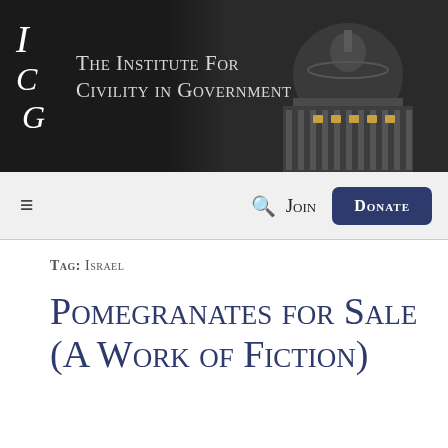[Figure (screenshot): Website header banner with dark background and US Capitol building photo on the right, showing the dome illuminated at night]
The Institute For Civility in Government
[Figure (screenshot): Navigation bar with hamburger menu, search icon, Join text link, and Donate button in dark navy blue]
Tag: Israel
Pomegranates for Sale (A Work of Fiction)